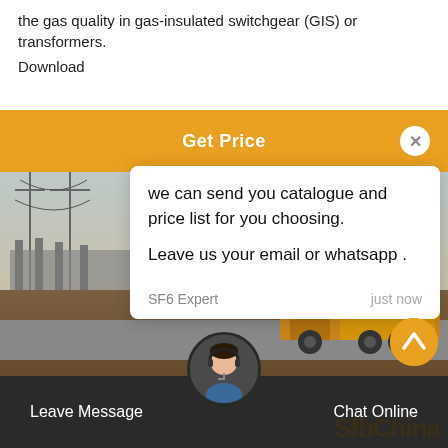the gas quality in gas-insulated switchgear (GIS) or transformers.
Download
[Figure (screenshot): Orange Get Price banner with white close button (X) on the right]
[Figure (photo): Electrical substation with power lines, towers, and a yellow truck in the background]
[Figure (screenshot): Chat popup overlay with message: 'we can send you catalogue and price list for you choosing. Leave us your email or whatsapp.' From SF6 Expert, just now. Below is a reply box with 'Write a reply..' placeholder and thumbs-up/paperclip icons. Green notification circle with badge '1' on the right.]
[Figure (screenshot): Bottom dark navigation bar with 'Leave Message' on left, a female customer support avatar in the center, and 'Chat Online' on the right. 'SfbChina' watermark visible.]